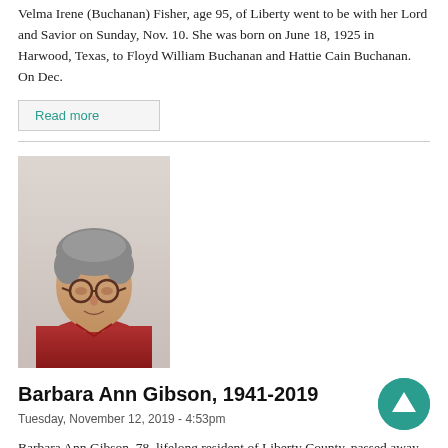Velma Irene (Buchanan) Fisher, age 95, of Liberty went to be with her Lord and Savior on Sunday, Nov. 10. She was born on June 18, 1925 in Harwood, Texas, to Floyd William Buchanan and Hattie Cain Buchanan. On Dec.
Read more
[Figure (photo): Portrait photo of Barbara Ann Gibson, an older woman with short gray hair and glasses, wearing a red top, photographed against a light background.]
Barbara Ann Gibson, 1941-2019
Tuesday, November 12, 2019 - 4:53pm
Barbara Ann Gibson, 78, lifelong resident of Liberty County, passed away peacefully on Nov. 10 at her home in Dayton, surrounded by her loving family. She was born on Sept. 8, 1941 in Liberty to the late Emmitt and Fannie Lee Wade Carlton.